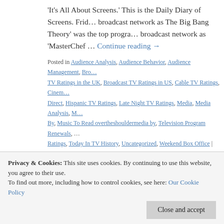'It's All About Screens.' This is the Daily Diary of Screens. Frid… broadcast network as The Big Bang Theory' was the top progra… broadcast network as 'MasterChef … Continue reading →
Posted in Audience Analysis, Audience Behavior, Audience Management, Bro… TV Ratings in the UK, Broadcast TV Ratings in US, Cable TV Ratings, Cinem… Direct, Hispanic TV Ratings, Late Night TV Ratings, Media, Media Analysis, M… By, Music To Read overtheshouldermedia by, Television Program Renewals, … Ratings, Today In TV History, Uncategorized, Weekend Box Office | Tagged '2… the UK Thursday, 'American Grit' TV Ratings Thursday, 'Bargain Shop Wars' … Homes & Gardens' TV Ratings in Australia Friday, 'Camino Hacia Destino' TV… the UK Thursday 050516, 'Friday Night NRL Live' #1 non-newscast program i… Silence' TV Ratings Thursday, 'Grantchester' season finale TV Ratings in Aus… Secretos' #1 Hispanic TV program Thursday 050516, 'Hotel De Los Secretos… Ratings in Australia Thursday, 'Kangaroo Dundee and Other Animals Part 1: M… Thursday, 'Kirstie and Phil's Love It or List It' TV Ratings in the UK Thursday,
Privacy & Cookies: This site uses cookies. By continuing to use this website, you agree to their use.
To find out more, including how to control cookies, see here: Our Cookie Policy
Close and accept